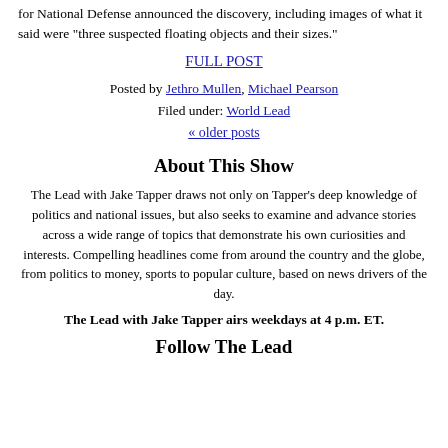for National Defense announced the discovery, including images of what it said were "three suspected floating objects and their sizes."
FULL POST
Posted by Jethro Mullen, Michael Pearson
Filed under: World Lead
« older posts
About This Show
The Lead with Jake Tapper draws not only on Tapper's deep knowledge of politics and national issues, but also seeks to examine and advance stories across a wide range of topics that demonstrate his own curiosities and interests. Compelling headlines come from around the country and the globe, from politics to money, sports to popular culture, based on news drivers of the day.
The Lead with Jake Tapper airs weekdays at 4 p.m. ET.
Follow The Lead